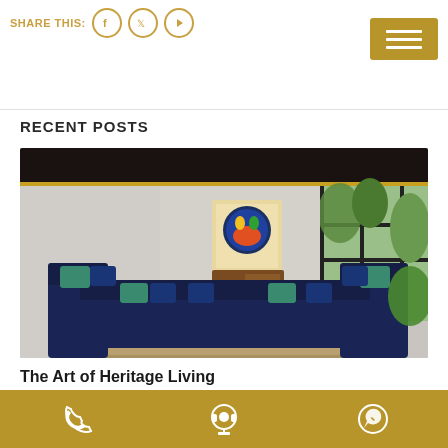SHARE THIS:
RECENT POSTS
[Figure (photo): Interior living room with navy blue sectional sofa with teal and patterned cushions arranged in a U-shape, a carved wooden cabinet, a framed circular artwork on the grey wall, stone/concrete coffee tables, a patterned rug, and a large window with palm trees visible outside. Dark ceiling with gold trim detail.]
The Art of Heritage Living
January 20, 2021
Phone | Chat | WhatsApp